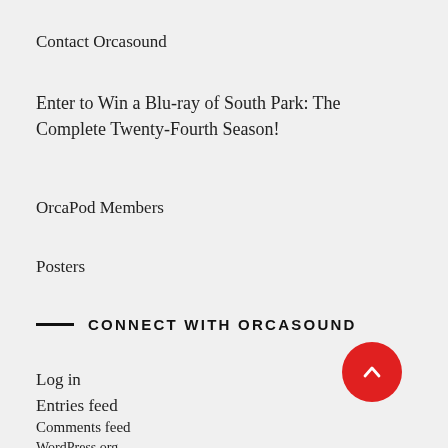Contact Orcasound
Enter to Win a Blu-ray of South Park: The Complete Twenty-Fourth Season!
OrcaPod Members
Posters
CONNECT WITH ORCASOUND
Log in
Entries feed
Comments feed
WordPress.org